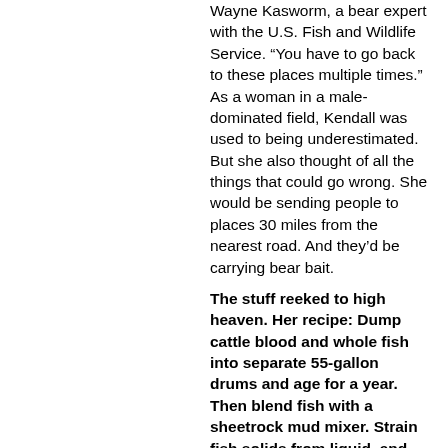Wayne Kasworm, a bear expert with the U.S. Fish and Wildlife Service. “You have to go back to these places multiple times.” As a woman in a male-dominated field, Kendall was used to being underestimated. But she also thought of all the things that could go wrong. She would be sending people to places 30 miles from the nearest road. And they’d be carrying bear bait.
The stuff reeked to high heaven. Her recipe: Dump cattle blood and whole fish into separate 55-gallon drums and age for a year. Then blend fish with a sheetrock mud mixer. Strain fish solids from liquid, and mix liquid with the rotten blood.